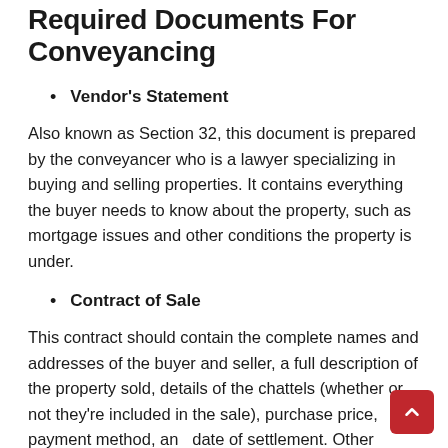Required Documents For Conveyancing
Vendor's Statement
Also known as Section 32, this document is prepared by the conveyancer who is a lawyer specializing in buying and selling properties. It contains everything the buyer needs to know about the property, such as mortgage issues and other conditions the property is under.
Contract of Sale
This contract should contain the complete names and addresses of the buyer and seller, a full description of the property sold, details of the chattels (whether or not they're included in the sale), purchase price, payment method, and date of settlement. Other details may be required, all of which...